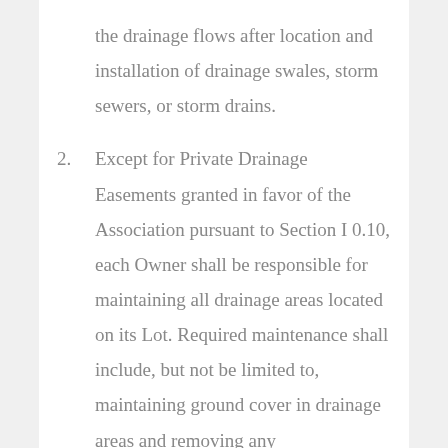the drainage flows after location and installation of drainage swales, storm sewers, or storm drains.
2. Except for Private Drainage Easements granted in favor of the Association pursuant to Section I 0.10, each Owner shall be responsible for maintaining all drainage areas located on its Lot. Required maintenance shall include, but not be limited to, maintaining ground cover in drainage areas and removing any